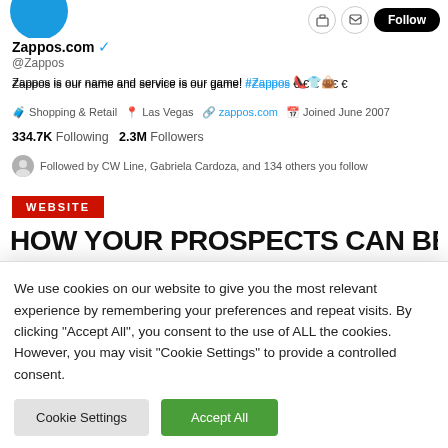[Figure (screenshot): Partial Twitter/X profile page for Zappos.com showing avatar circle (blue), Follow button, account name with verified badge, handle @Zappos, bio text, meta info, stats, and followed-by row.]
Zappos.com ✓
@Zappos
Zappos is our name and service is our game! #Zappos 👠👕👜
🧳 Shopping & Retail  📍 Las Vegas  🔗 zappos.com  📅 Joined June 2007
334.7K Following   2.3M Followers
Followed by CW Line, Gabriela Cardoza, and 134 others you follow
WEBSITE
HOW YOUR PROSPECTS CAN BE YOUR
We use cookies on our website to give you the most relevant experience by remembering your preferences and repeat visits. By clicking "Accept All", you consent to the use of ALL the cookies. However, you may visit "Cookie Settings" to provide a controlled consent.
Cookie Settings   Accept All